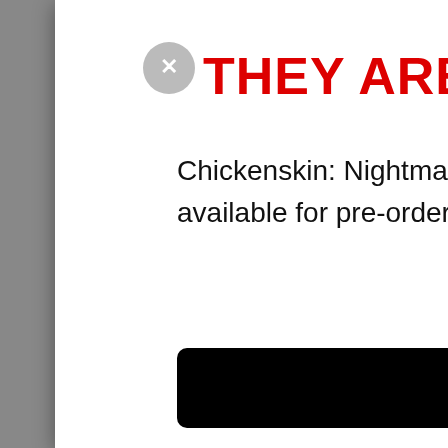THEY ARE BACK!! 🔴
Chickenskin: Nightmare of the Nightmarchers is now available for pre-order! Show respect… or else!!!!
Shop now